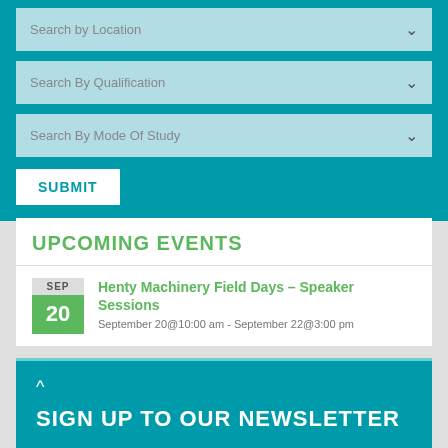Search by Location
Search By Qualification
Search By Mode Of Study
SUBMIT
UPCOMING EVENTS
Henty Machinery Field Days – Speaker Sessions
September 20@10:00 am - September 22@3:00 pm
SIGN UP TO OUR NEWSLETTER